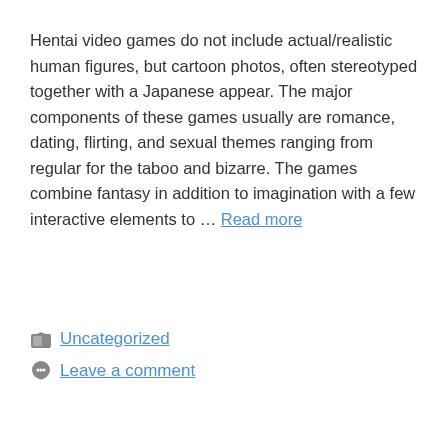Hentai video games do not include actual/realistic human figures, but cartoon photos, often stereotyped together with a Japanese appear. The major components of these games usually are romance, dating, flirting, and sexual themes ranging from regular for the taboo and bizarre. The games combine fantasy in addition to imagination with a few interactive elements to … Read more
Uncategorized
Leave a comment